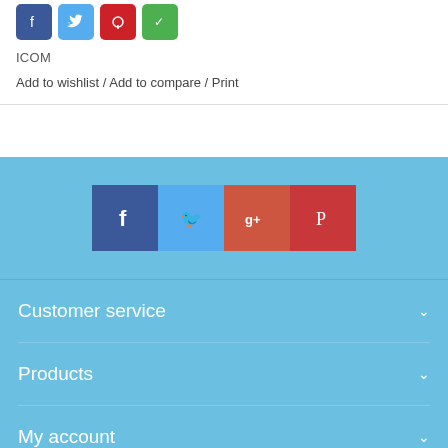[Figure (infographic): Social share buttons: Facebook (blue), Twitter (light blue), Pinterest (red), WhatsApp (green)]
ICOM
Add to wishlist / Add to compare / Print
[Figure (infographic): Footer social icons: Facebook (dark blue), Twitter (light blue), Google+ (red-brown), Pinterest (dark red)]
Customer service
Products
My account
Pilot Outfitters